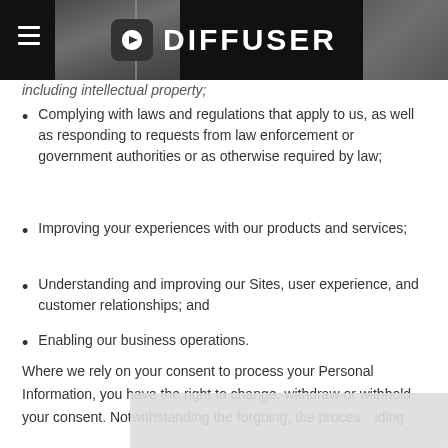DIFFUSER
including intellectual property;
Complying with laws and regulations that apply to us, as well as responding to requests from law enforcement or government authorities or as otherwise required by law;
Improving your experiences with our products and services;
Understanding and improving our Sites, user experience, and customer relationships; and
Enabling our business operations.
Where we rely on your consent to process your Personal Information, you have the right to change, withdraw or withhold your consent. Notwithstanding the forgoing, the processing ... iding